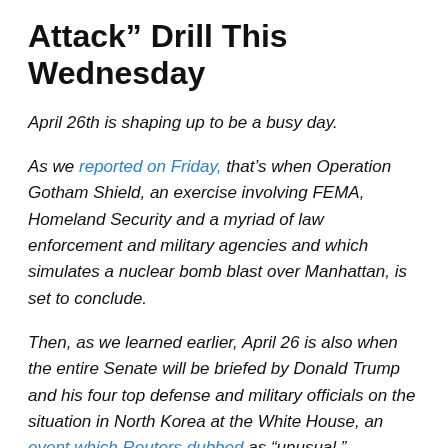Attack” Drill This Wednesday
April 26th is shaping up to be a busy day.
As we reported on Friday, that’s when Operation Gotham Shield, an exercise involving FEMA, Homeland Security and a myriad of law enforcement and military agencies and which simulates a nuclear bomb blast over Manhattan, is set to conclude.
Then, as we learned earlier, April 26 is also when the entire Senate will be briefed by Donald Trump and his four top defense and military officials on the situation in North Korea at the White House, an event which Reuters dubbed as “unusual.”
April 26 is also when the USS Carl Vinson is expected to